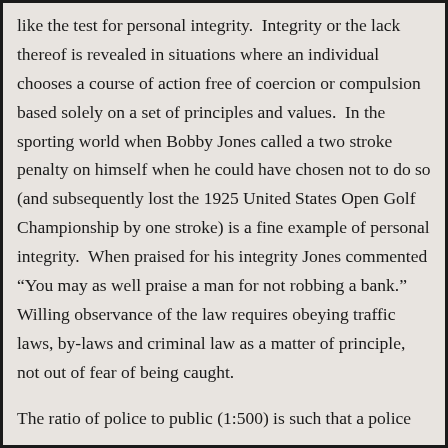like the test for personal integrity.  Integrity or the lack thereof is revealed in situations where an individual chooses a course of action free of coercion or compulsion based solely on a set of principles and values.  In the sporting world when Bobby Jones called a two stroke penalty on himself when he could have chosen not to do so (and subsequently lost the 1925 United States Open Golf Championship by one stroke) is a fine example of personal integrity.  When praised for his integrity Jones commented “You may as well praise a man for not robbing a bank.”  Willing observance of the law requires obeying traffic laws, by-laws and criminal law as a matter of principle, not out of fear of being caught.
The ratio of police to public (1:500) is such that a police presence throughout the entire community